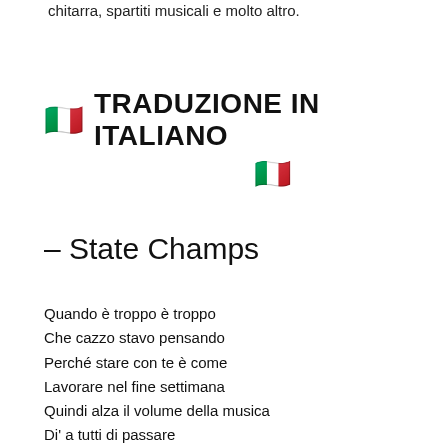chitarra, spartiti musicali e molto altro.
🇮🇹 TRADUZIONE IN ITALIANO 🇮🇹
– State Champs
Quando è troppo è troppo
Che cazzo stavo pensando
Perché stare con te è come
Lavorare nel fine settimana
Quindi alza il volume della musica
Di' a tutti di passare
Perché sto facendo una festa